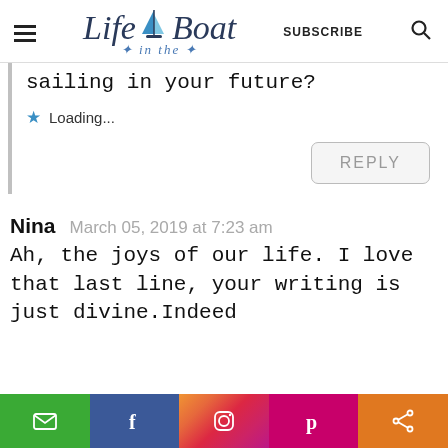[Figure (logo): Life in the Boat logo with sailboat icon, SUBSCRIBE text, and search icon]
sailing in your future?
Loading...
REPLY
Nina   March 05, 2019 at 7:23 am
Ah, the joys of our life. I love that last line, your writing is just divine.Indeed
[Figure (infographic): Social sharing bar with email, Facebook, Instagram, Pinterest, and share buttons]